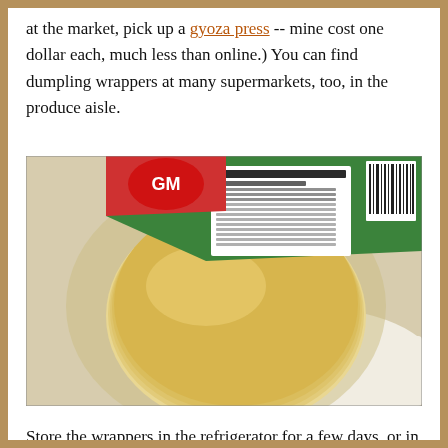at the market, pick up a gyoza press -- mine cost one dollar each, much less than online.) You can find dumpling wrappers at many supermarkets, too, in the produce aisle.
[Figure (photo): A package of round dumpling wrappers in a clear plastic bag, with a green nutrition facts label visible at the top.]
Store the wrappers in the refrigerator for a few days, or in the freezer (defrost slowly, in the refrigerator). Fill your dumplings with any combination of homemade ingredients and store-bought